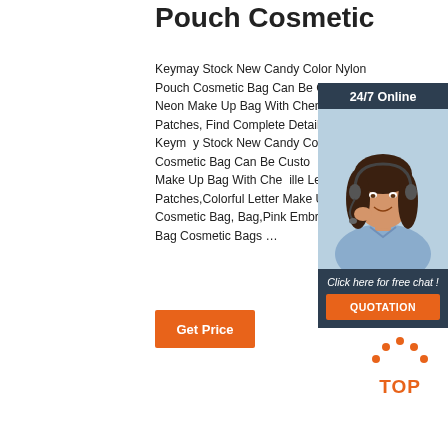Pouch Cosmetic
Keymay Stock New Candy Color Nylon Pouch Cosmetic Bag Can Be Customized Neon Make Up Bag With Chenille Letter Patches, Find Complete Details about Keymay Stock New Candy Color Nylon Cosmetic Bag Can Be Customized Neon Make Up Bag With Chenille Letter Patches,Colorful Letter Make Up Bag,Nylon Cosmetic Bag,Bag,Pink Embroidery Wash Bag Cosmetic Bags …
[Figure (photo): Customer service representative woman with headset smiling, shown in a 24/7 Online chat widget panel with dark background]
Get Price
[Figure (other): TOP button with orange dots arranged in an arc above the word TOP in orange bold text]